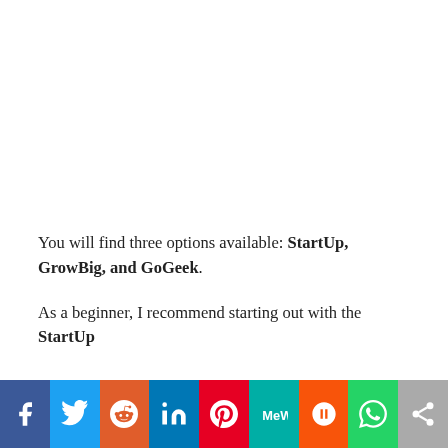You will find three options available: StartUp, GrowBig, and GoGeek.
As a beginner, I recommend starting out with the StartUp
[Figure (other): Social sharing bar with icons for Facebook, Twitter, Reddit, LinkedIn, Pinterest, MeWe, Mix, WhatsApp, and More]